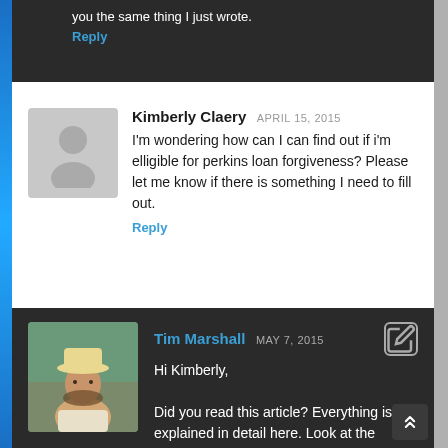you the same thing I just wrote.
Reply
Kimberly Claery APRIL 15, 2015 - Im wondering how can I can find out if im elligible for perkins loan forgiveness? Please let me know if there is something I need to fill out.
Reply
Tim Marshall MAY 7, 2015 - Hi Kimberly, Did you read this article? Everything is explained in detail here. Look at the sections “Which Nurses are Eligible” and “Which Licensed Medical Technicians Are Eligible” before...